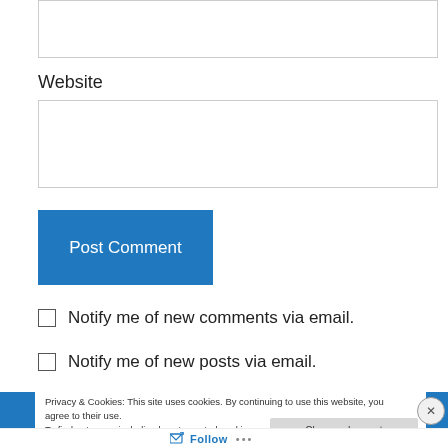(input field — top, partially visible)
Website
(Website input field)
Post Comment
Notify me of new comments via email.
Notify me of new posts via email.
Privacy & Cookies: This site uses cookies. By continuing to use this website, you agree to their use. To find out more, including how to control cookies, see here: Cookie Policy
Close and accept
Follow